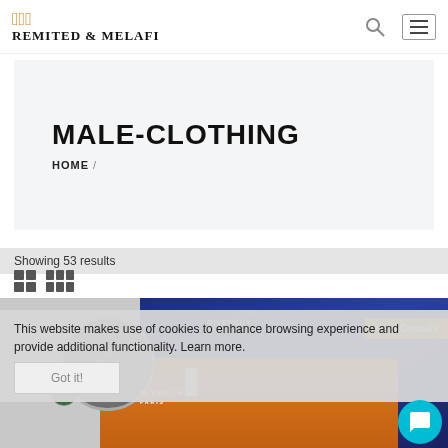Remited & Melafi
MALE-CLOTHING
HOME /
Showing 53 results
This website makes use of cookies to enhance browsing experience and provide additional functionality. Learn more.
Got it!
[Figure (photo): Product photo showing Givenchy clothing items including a blue jacket and orange sweater, with a clock and globe props]
Male Casuals